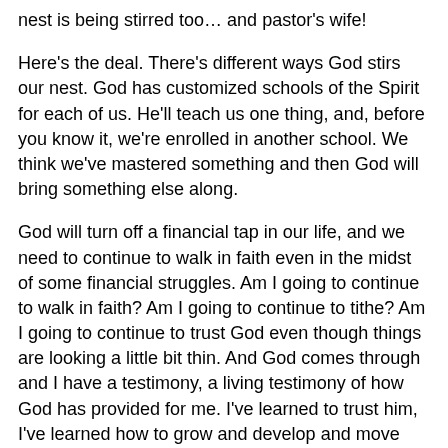nest is being stirred too… and pastor's wife!
Here's the deal. There's different ways God stirs our nest. God has customized schools of the Spirit for each of us. He'll teach us one thing, and, before you know it, we're enrolled in another school. We think we've mastered something and then God will bring something else along.
God will turn off a financial tap in our life, and we need to continue to walk in faith even in the midst of some financial struggles. Am I going to continue to walk in faith? Am I going to continue to tithe? Am I going to continue to trust God even though things are looking a little bit thin. And God comes through and I have a testimony, a living testimony of how God has provided for me. I've learned to trust him, I've learned how to grow and develop and move onward and upward in my life with God. That's how God works in our lives.
God does it corporately as well. God will stir up the nest of a whole body of believers. As Americans we tend to think of things individualistically. We read the Bible individualistically